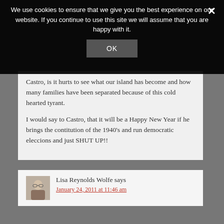We use cookies to ensure that we give you the best experience on our website. If you continue to use this site we will assume that you are happy with it.
OK
Castro, is it hurts to see what our island has become and how many families have been separated because of this cold hearted tyrant.

I would say to Castro, that it will be a Happy New Year if he brings the contitution of the 1940's and run democratic eleccions and just SHUT UP!!
Lisa Reynolds Wolfe says
January 24, 2011 at 11:46 am